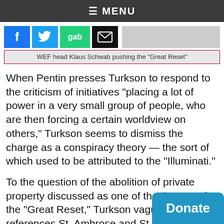≡ MENU
[Figure (screenshot): Social media share buttons: Facebook (blue), Twitter (blue bird), Gab (green), Email (black envelope)]
WEF head Klaus Schwab pushing the "Great Reset"
When Pentin presses Turkson to respond to the criticism of initiatives "placing a lot of power in a very small group of people, who are then forcing a certain worldview on others," Turkson seems to dismiss the charge as a conspiracy theory — the sort of which used to be attributed to the "Illuminati."
To the question of the abolition of private property discussed as one of the themes of the "Great Reset," Turkson vaguely references St. Ambrose and St. John Chrysostom, who say "rich people have wealth so they can serve the poor ones and so the poor will have a way of appreciating them for their
[Figure (other): Donate button (blue, rounded top corners)]